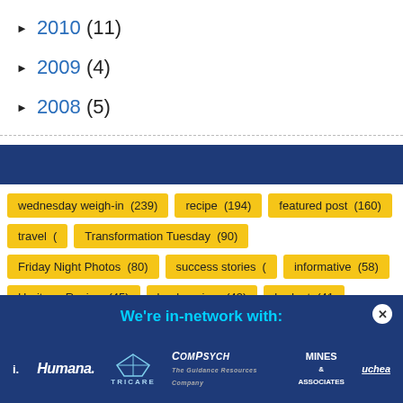► 2010 (11)
► 2009 (4)
► 2008 (5)
wednesday weigh-in (239)
recipe (194)
featured post (160)
travel (…)
Transformation Tuesday (90)
Friday Night Photos (80)
success stories (…)
informative (58)
Heritage Recipe (45)
book review (43)
budget (41…)
writing prompt (26)
The Dr. Oz Show (25)
tutorial (22)
40x40 goals (…)
[Figure (screenshot): Advertisement overlay: We're in-network with: Humana, TRICARE, ComPsych, MINES & ASSOCIATES, uchea…]